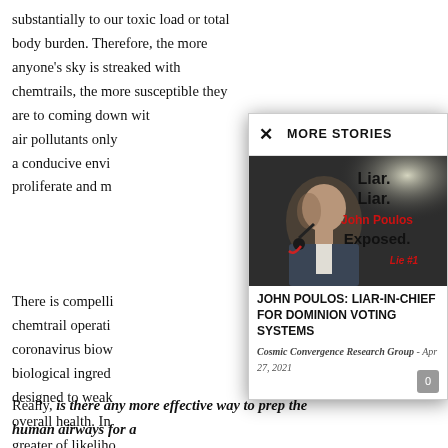substantially to our toxic load or total body burden. Therefore, the more anyone's sky is streaked with chemtrails, the more susceptible they are to coming down with air pollutants only a conducive environment proliferate and m
[Figure (screenshot): A modal popup overlay titled MORE STORIES featuring a news article. The article shows a photo of a man (John Poulos) with text overlay reading 'Liar. Liar. John Poulos Exposed. Lie #1'. The article title reads 'JOHN POULOS: LIAR-IN-CHIEF FOR DOMINION VOTING SYSTEMS' by Cosmic Convergence Research Group, Apr 27, 2021.]
There is compelling chemtrail operations coronavirus biow biological ingredi designed to weak overall health. In greater of likeliho chemical geoengi incessant bio-atta full-blown pande
Really, is there any more effective way to prep the human airways for a